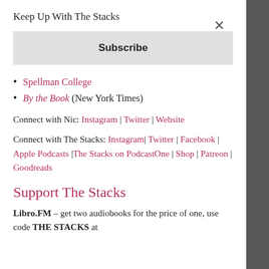Keep Up With The Stacks
Subscribe
Spellman College
By the Book (New York Times)
Connect with Nic: Instagram | Twitter | Website
Connect with The Stacks: Instagram| Twitter | Facebook | Apple Podcasts |The Stacks on PodcastOne | Shop | Patreon | Goodreads
Support The Stacks
Libro.FM – get two audiobooks for the price of one, use code THE STACKS at